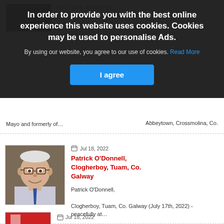Ann Taylor, Abbeytown, Crossmolina, Co. Mayo and formerly of...
(Frosie) Kearney nee
Abbeytown, Crossmolina, Co. Mayo and formerly of...
In order to provide you with the best online experience this website uses cookies. Cookies may be used to personalise Ads.
By using our website, you agree to our use of cookies. Read More
I agree
Jul 18, 2022
Patrick O'Donnell, Clogherboy, Tuam, Co. Galway
Patrick O'Donnell,

Clogherboy, Tuam, Co. Galway (July 17th, 2022) - peacefully at...
Jul 18, 2022